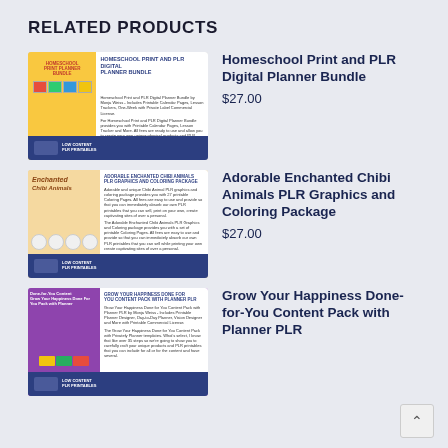RELATED PRODUCTS
[Figure (screenshot): Product thumbnail for Homeschool Print and PLR Digital Planner Bundle showing a colorful planner bundle cover with Low Content PLR Printables logo]
Homeschool Print and PLR Digital Planner Bundle
$27.00
[Figure (screenshot): Product thumbnail for Adorable Enchanted Chibi Animals PLR Graphics and Coloring Package showing chibi animal illustrations and coloring page preview]
Adorable Enchanted Chibi Animals PLR Graphics and Coloring Package
$27.00
[Figure (screenshot): Product thumbnail for Grow Your Happiness Done-for-You Content Pack with Planner PLR showing purple themed content pack preview]
Grow Your Happiness Done-for-You Content Pack with Planner PLR